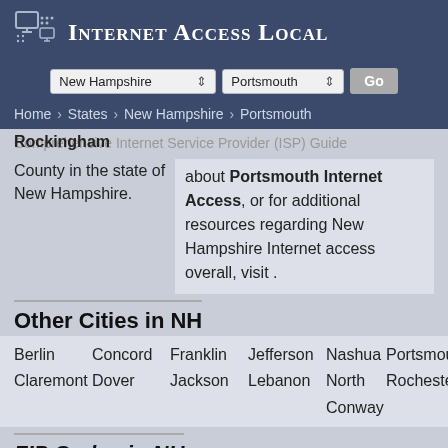Internet Access Local
Home › States › New Hampshire › Portsmouth
Comprehensive Internet Service Provider (ISP) Guide about Portsmouth Internet Access, or for additional resources regarding New Hampshire Internet access overall, visit .
Rockingham County in the state of New Hampshire.
Other Cities in NH
Berlin   Concord   Franklin   Jefferson   Nashua   Portsmouth
Claremont   Dover   Jackson   Lebanon   North Conway   Rochester
ZIP Codes in NH